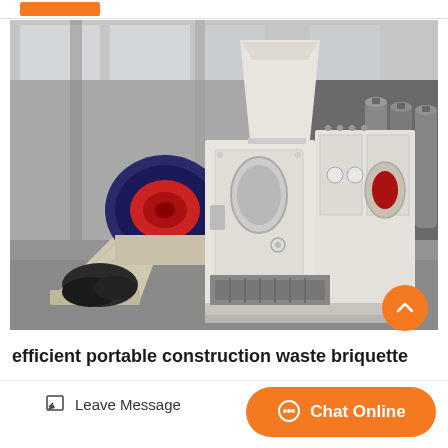[Figure (photo): Industrial briquette machine (white heavy-duty press) with a hopper on top, large motor/drive on the left side, and output tray at the bottom. Photographed inside an industrial warehouse. Gas cylinders visible on the right side.]
efficient portable construction waste briquette